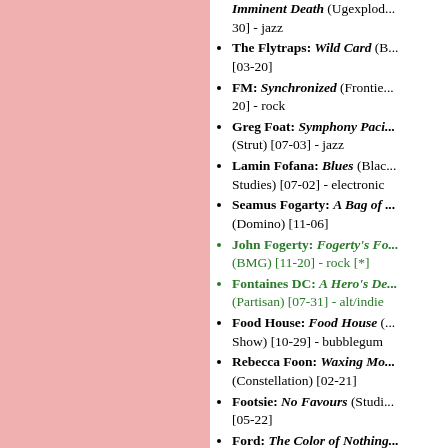Imminent Death (Ugexplod... 30] - jazz
The Flytraps: Wild Card (B... [03-20]
FM: Synchronized (Frontie... 20] - rock
Greg Foat: Symphony Paci... (Strut) [07-03] - jazz
Lamin Fofana: Blues (Blac... Studies) [07-02] - electronic
Seamus Fogarty: A Bag of ... (Domino) [11-06]
John Fogerty: Fogerty's Fa... (BMG) [11-20] - rock [*]
Fontaines DC: A Hero's De... (Partisan) [07-31] - alt/indie
Food House: Food House (... Show) [10-29] - bubblegum
Rebecca Foon: Waxing Mo... (Constellation) [02-21]
Footsie: No Favours (Studi... [05-22]
Ford: The Color of Nothing... (Foreign Family Collective) - electronic